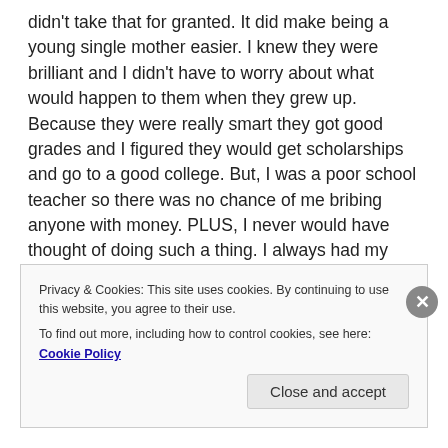didn't take that for granted. It did make being a young single mother easier. I knew they were brilliant and I didn't have to worry about what would happen to them when they grew up. Because they were really smart they got good grades and I figured they would get scholarships and go to a good college. But, I was a poor school teacher so there was no chance of me bribing anyone with money. PLUS, I never would have thought of doing such a thing. I always had my children earn their grades. I remember my oldest son in second grade having to make his own musical instrument for music class and asking for my help. I told him I would discuss ideas with him and help him find whatever materials he wanted to use, but It was his
Privacy & Cookies: This site uses cookies. By continuing to use this website, you agree to their use.
To find out more, including how to control cookies, see here: Cookie Policy
Close and accept